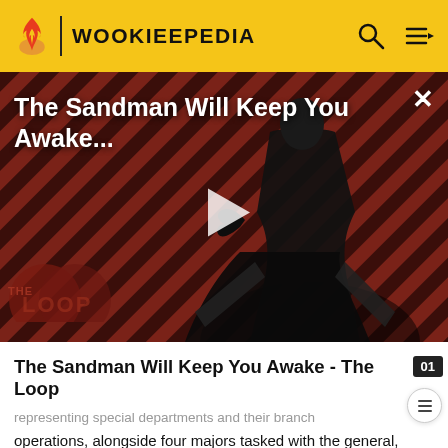WOOKIEPEDIA
[Figure (screenshot): Video thumbnail for 'The Sandman Will Keep You Awake - The Loop' on Wookieepedia, showing a dark-caped figure on a diagonal striped red/black background with a play button, 'THE LOOP' watermark, and a close (X) button.]
The Sandman Will Keep You Awake - The Loop
representing special departments and their branch operations, alongside four majors tasked with the general, service, technical, security, and military sectors (the last including Army troopers, the Death Star troopers [a